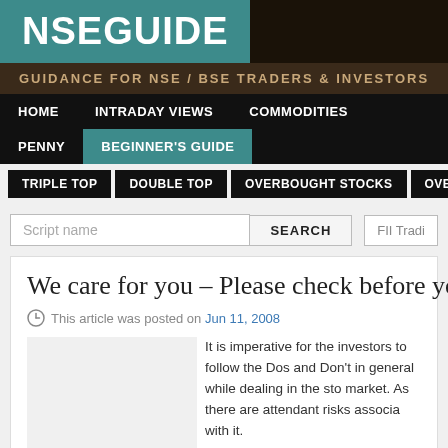NSEGUIDE
GUIDANCE FOR NSE / BSE TRADERS & INVESTORS
HOME   INTRADAY VIEWS   COMMODITIES   PENNY   BEGINNER'S GUIDE
TRIPLE TOP   DOUBLE TOP   OVERBOUGHT STOCKS   OVERSO...
Script name   SEARCH   FII Tradi...
We care for you – Please check before yo...
This article was posted on Jun 11, 2008
It is imperative for the investors to follow the Dos and Don't in general while dealing in the stock market. As there are attendant risks associated with it.
Given below are the Dos and Don'ts in gene...